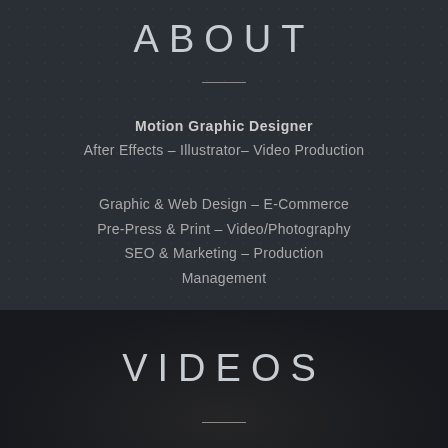ABOUT
Motion Graphic Designer
After Effects – Illustrator– Video Production
Graphic & Web Design – E-Commerce
Pre-Press & Print – Video/Photography
SEO & Marketing – Production Management
VIDEOS